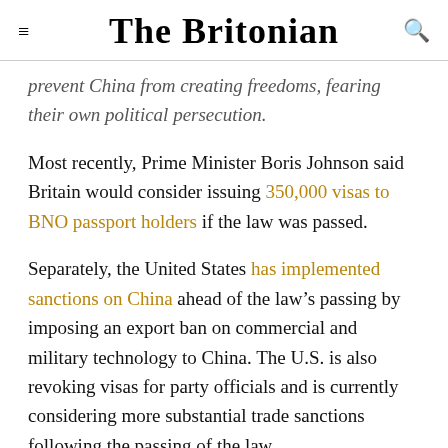The Britonian
prevent China from creating freedoms, fearing their own political persecution.
Most recently, Prime Minister Boris Johnson said Britain would consider issuing 350,000 visas to BNO passport holders if the law was passed.
Separately, the United States has implemented sanctions on China ahead of the law’s passing by imposing an export ban on commercial and military technology to China. The U.S. is also revoking visas for party officials and is currently considering more substantial trade sanctions following the passing of the law.